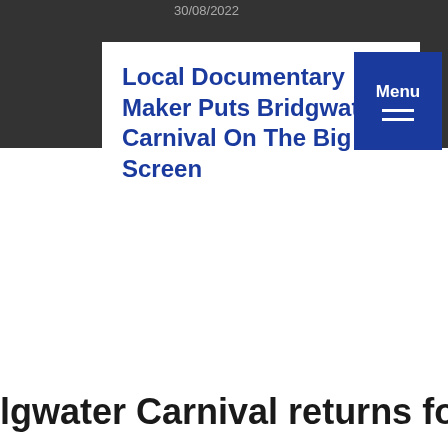30/08/2022
Local Documentary Maker Puts Bridgwater Carnival On The Big Screen
as, Oliver keteers hard
We use cookies on our website to give you the most relevant experience by remembering your preferences and repeat visits. By clicking “Accept All”, you consent to the use of ALL the cookies. However, you may visit “Cookie Settings” to provide a controlled consent.
Cookie Settings
Accept All
lgwater Carnival returns for 2022